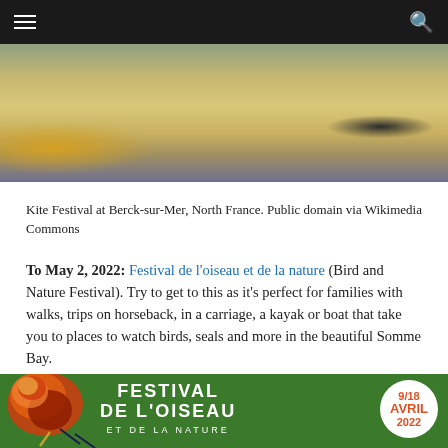≡  [navigation bar]  🔍
[Figure (photo): Kite Festival at Berck-sur-Mer beach, North France, showing kites and people on the sand]
Kite Festival at Berck-sur-Mer, North France. Public domain via Wikimedia Commons
To May 2, 2022: Festival de l'oiseau et de la nature (Bird and Nature Festival). Try to get to this as it's perfect for families with walks, trips on horseback, in a carriage, a kayak or boat that take you to places to watch birds, seals and more in the beautiful Somme Bay.
[Figure (photo): Festival de l'Oiseau et de la Nature poster on green background with decorative bird illustration, text reading FESTIVAL DE L'OISEAU ET DE LA NATURE, and a white circle with orange text 9/18 AVRIL 2022]